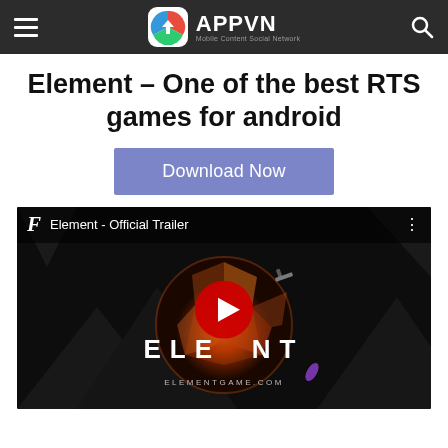APPVN Mobile Content Social Network
Element – One of the best RTS games for android
Download Now
[Figure (screenshot): YouTube video thumbnail for 'Element - Official Trailer' showing the game logo ELEMENT over a 3D rendered planet on a dark background, with a YouTube play button in the center. Channel icon and title visible at top.]